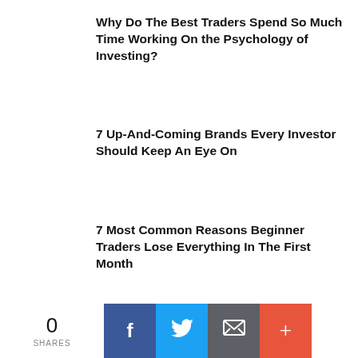Why Do The Best Traders Spend So Much Time Working On the Psychology of Investing?
7 Up-And-Coming Brands Every Investor Should Keep An Eye On
7 Most Common Reasons Beginner Traders Lose Everything In The First Month
LEAVE A REPLY
0 SHARES